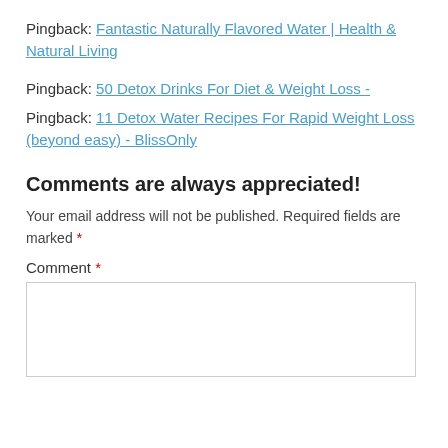Pingback: Fantastic Naturally Flavored Water | Health & Natural Living
Pingback: 50 Detox Drinks For Diet & Weight Loss -
Pingback: 11 Detox Water Recipes For Rapid Weight Loss (beyond easy) - BlissOnly
Comments are always appreciated!
Your email address will not be published. Required fields are marked *
Comment *